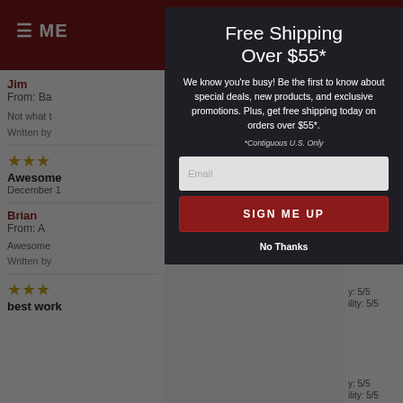[Figure (screenshot): Background of a product review page with dark red top navigation bar showing hamburger menu icon and 'ME' text, shopping cart icon. Below shows customer reviews from 'Jim' and 'Brian' with star ratings and partial text.]
Free Shipping Over $55*
We know you're busy! Be the first to know about special deals, new products, and exclusive promotions. Plus, get free shipping today on orders over $55*.
*Contiguous U.S. Only
Email
SIGN ME UP
No Thanks